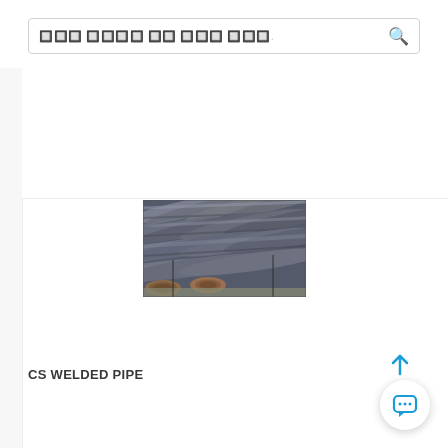Search placeholder (non-Latin characters)
[Figure (photo): Stack of dark gray/blue carbon steel welded pipes bundled together, viewed from an angle showing their cylindrical cross-sections]
CS WELDED PIPE